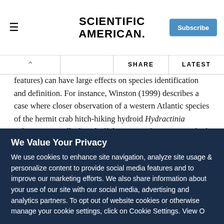SCIENTIFIC AMERICAN.
features) can have large effects on species identification and definition. For instance, Winston (1999) describes a case where closer observation of a western Atlantic species of the hermit crab hitch-hiking hydroid Hydractinia echinata, typically found off the coasts of Europe, resulted in the description of two additional species based on previously “hidden”, or non-scrutinized, morphological and ecological characters (Buss and Yund, 1989). Similar case are all too common. The closer we
We Value Your Privacy
We use cookies to enhance site navigation, analyze site usage & personalize content to provide social media features and to improve our marketing efforts. We also share information about your use of our site with our social media, advertising and analytics partners. To opt out of website cookies or otherwise manage your cookie settings, click on Cookie Settings. View O...